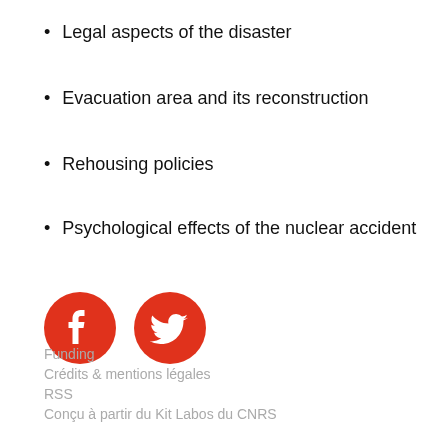Legal aspects of the disaster
Evacuation area and its reconstruction
Rehousing policies
Psychological effects of the nuclear accident
[Figure (logo): Facebook and Twitter social media icon buttons, red circles with white icons]
Funding
Crédits & mentions légales
RSS
Conçu à partir du Kit Labos du CNRS